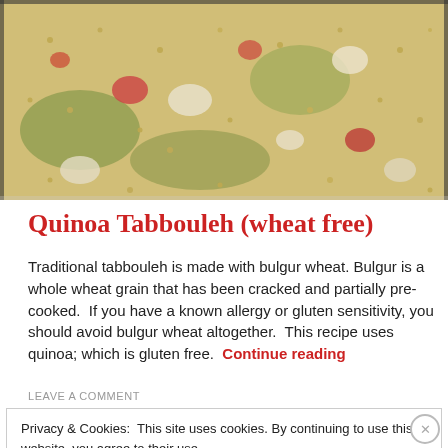[Figure (photo): Close-up photo of quinoa tabbouleh salad with visible grains, chopped vegetables including tomatoes and cucumbers, and herbs]
Quinoa Tabbouleh (wheat free)
Traditional tabbouleh is made with bulgur wheat. Bulgur is a whole wheat grain that has been cracked and partially pre-cooked.  If you have a known allergy or gluten sensitivity, you should avoid bulgur wheat altogether.  This recipe uses quinoa; which is gluten free.  Continue reading
LEAVE A COMMENT
Privacy & Cookies:  This site uses cookies. By continuing to use this website, you agree to their use.
To find out more, including how to control cookies, see here: Cookie Policy
Close and accept